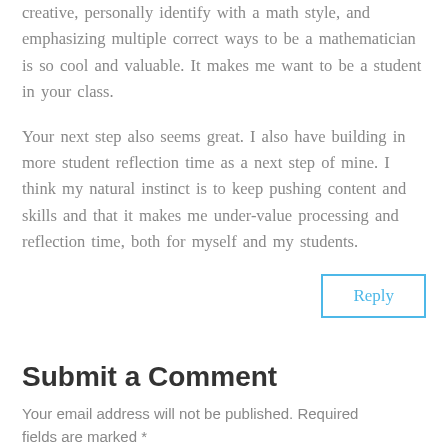creative, personally identify with a math style, and emphasizing multiple correct ways to be a mathematician is so cool and valuable. It makes me want to be a student in your class.
Your next step also seems great. I also have building in more student reflection time as a next step of mine. I think my natural instinct is to keep pushing content and skills and that it makes me under-value processing and reflection time, both for myself and my students.
Reply
Submit a Comment
Your email address will not be published. Required fields are marked *